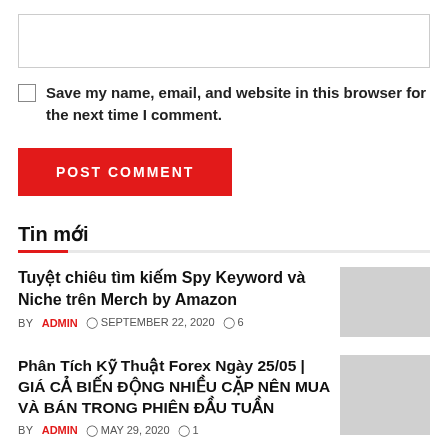[Figure (other): Empty textarea input box for comment]
Save my name, email, and website in this browser for the next time I comment.
POST COMMENT
Tin mới
Tuyệt chiêu tìm kiếm Spy Keyword và Niche trên Merch by Amazon
BY ADMIN  SEPTEMBER 22, 2020  6
[Figure (photo): Article thumbnail image placeholder (gray)]
Phân Tích Kỹ Thuật Forex Ngày 25/05 | GIÁ CẢ BIẾN ĐỘNG NHIỀU CẶP NÊN MUA VÀ BÁN TRONG PHIÊN ĐẦU TUẦN
BY ADMIN  MAY 29, 2020  1
[Figure (photo): Article thumbnail image placeholder (gray)]